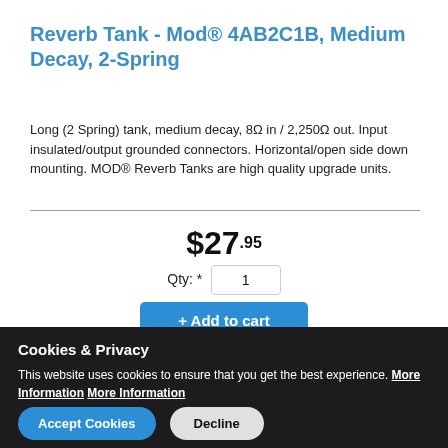Reverb Tank - Mod® 4AB2C1B, Medium Decay, 2-Spring
Long (2 Spring) tank, medium decay, 8Ω in / 2,250Ω out. Input insulated/output grounded connectors. Horizontal/open side down mounting. MOD® Reverb Tanks are high quality upgrade units.
$27.95
Qty: * 1
+ Add to cart
Cookies & Privacy
This website uses cookies to ensure that you get the best experience. More Information More Information
Accept Cookies
Decline